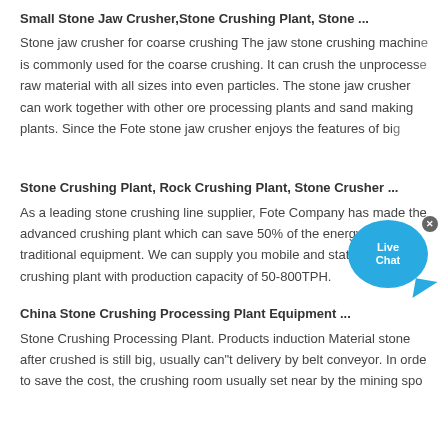Small Stone Jaw Crusher,Stone Crushing Plant, Stone ...
Stone jaw crusher for coarse crushing The jaw stone crushing machine is commonly used for the coarse crushing. It can crush the unprocessed raw material with all sizes into even particles. The stone jaw crusher can work together with other ore processing plants and sand making plants. Since the Fote stone jaw crusher enjoys the features of bi...
[Figure (other): Live Chat bubble button overlay in blue with 'Live Chat' text and a close (x) button]
Stone Crushing Plant, Rock Crushing Plant, Stone Crusher ...
As a leading stone crushing line supplier, Fote Company has made the advanced crushing plant which can save 50% of the energy than the traditional equipment. We can supply you mobile and stationary stone crushing plant with production capacity of 50-800TPH.
China Stone Crushing Processing Plant Equipment ...
Stone Crushing Processing Plant. Products induction Material stone after crushed is still big, usually can"t delivery by belt conveyor. In orde to save the cost, the crushing room usually set near by the mining spo...